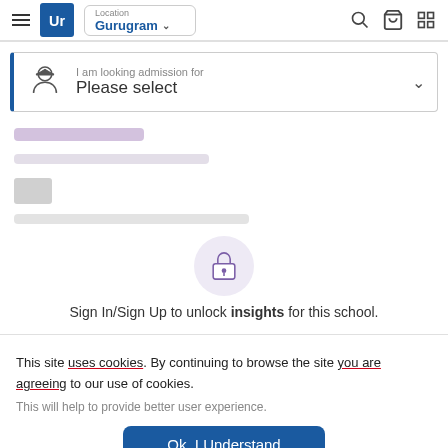Location Gurugram — UrbanPro header with search, cart, grid icons
I am looking admission for
Please select
[Figure (screenshot): Blurred/locked content area with purple and gray blurred text lines]
Sign In/Sign Up to unlock insights for this school.
This site uses cookies. By continuing to browse the site you are agreeing to our use of cookies.
This will help to provide better user experience.
Ok, I Understand